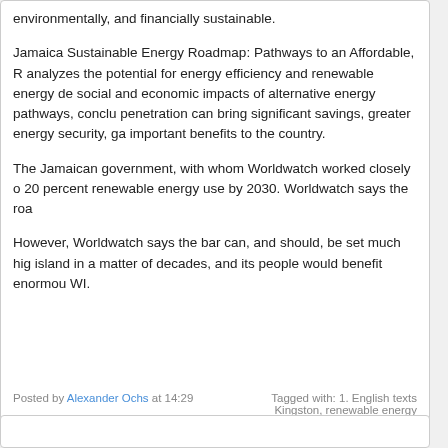environmentally, and financially sustainable.
Jamaica Sustainable Energy Roadmap: Pathways to an Affordable, R... analyzes the potential for energy efficiency and renewable energy de... social and economic impacts of alternative energy pathways, conclu... penetration can bring significant savings, greater energy security, ga... important benefits to the country.
The Jamaican government, with whom Worldwatch worked closely o... 20 percent renewable energy use by 2030. Worldwatch says the roa...
However, Worldwatch says the bar can, and should, be set much hig... island in a matter of decades, and its people would benefit enormou... WI.
Posted by Alexander Ochs at 14:29    Tagged with: 1. English texts Kingston, renewable energy